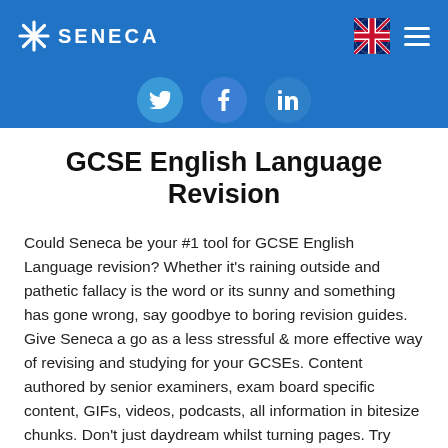SENECA
[Figure (infographic): Social media share buttons for Twitter, Facebook, and LinkedIn on a blue background]
GCSE English Language Revision
Could Seneca be your #1 tool for GCSE English Language revision? Whether it's raining outside and pathetic fallacy is the word or its sunny and something has gone wrong, say goodbye to boring revision guides. Give Seneca a go as a less stressful & more effective way of revising and studying for your GCSEs. Content authored by senior examiners, exam board specific content, GIFs, videos, podcasts, all information in bitesize chunks. Don't just daydream whilst turning pages. Try Seneca or a 1-1 tutor!
A Randomised Control study in 8 schools found that kids